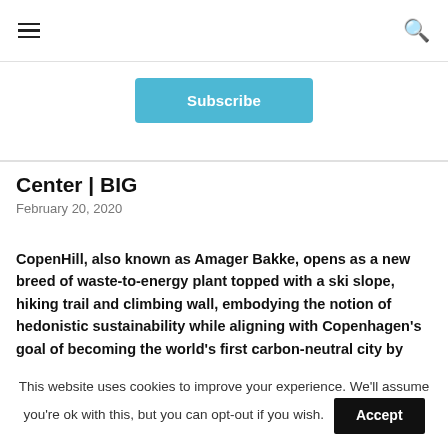≡  🔍
Subscribe
Center | BIG
February 20, 2020
CopenHill, also known as Amager Bakke, opens as a new breed of waste-to-energy plant topped with a ski slope, hiking trail and climbing wall, embodying the notion of hedonistic sustainability while aligning with Copenhagen's goal of becoming the world's first carbon-neutral city by 2025. CopenHill is a 41,000m2 waste-to-energy plant with an urban recreation center and environmental education hub.
This website uses cookies to improve your experience. We'll assume you're ok with this, but you can opt-out if you wish. Accept